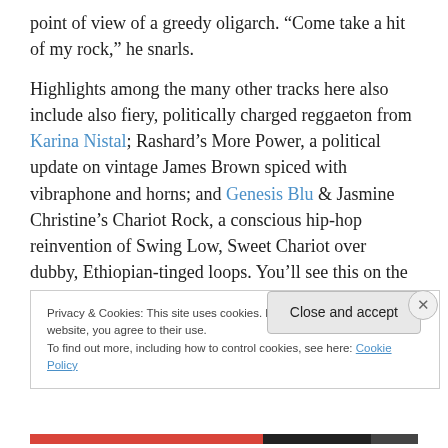point of view of a greedy oligarch. “Come take a hit of my rock,” he snarls.
Highlights among the many other tracks here also include also fiery, politically charged reggaeton from Karina Nistal; Rashard’s More Power, a political update on vintage James Brown spiced with vibraphone and horns; and Genesis Blu & Jasmine Christine’s Chariot Rock, a conscious hip-hop reinvention of Swing Low, Sweet Chariot over dubby, Ethiopian-tinged loops. You’ll see this on the best albums of 2020 page here at the end of the
Privacy & Cookies: This site uses cookies. By continuing to use this website, you agree to their use.
To find out more, including how to control cookies, see here: Cookie Policy